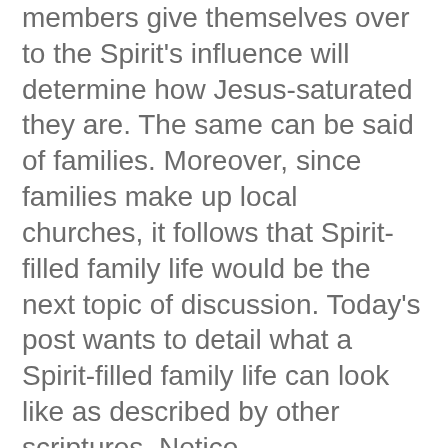members give themselves over to the Spirit's influence will determine how Jesus-saturated they are. The same can be said of families. Moreover, since families make up local churches, it follows that Spirit-filled family life would be the next topic of discussion. Today's post wants to detail what a Spirit-filled family life can look like as described by other scriptures. Notice....
1. Spirit-filled marriages will more clearly picture Jesus and His church
Paul expounds on how the Christian husband and wife relationship